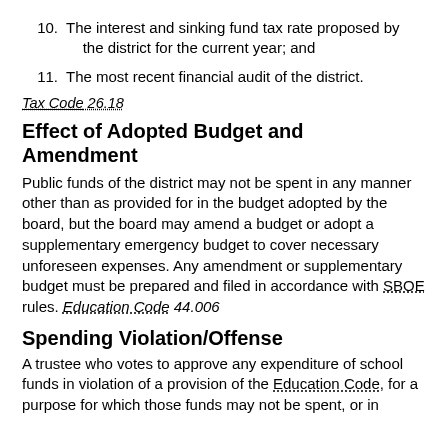10. The interest and sinking fund tax rate proposed by the district for the current year; and
11. The most recent financial audit of the district.
Tax Code 26.18
Effect of Adopted Budget and Amendment
Public funds of the district may not be spent in any manner other than as provided for in the budget adopted by the board, but the board may amend a budget or adopt a supplementary emergency budget to cover necessary unforeseen expenses. Any amendment or supplementary budget must be prepared and filed in accordance with SBOE rules. Education Code 44.006
Spending Violation/Offense
A trustee who votes to approve any expenditure of school funds in violation of a provision of the Education Code, for a purpose for which those funds may not be spent, or in